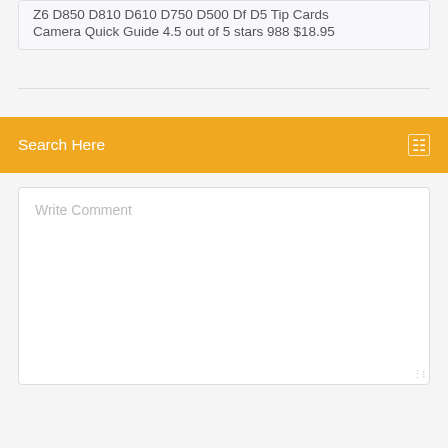Z6 D850 D810 D610 D750 D500 Df D5 Tip Cards Camera Quick Guide 4.5 out of 5 stars 988 $18.95
Search Here
Write Comment